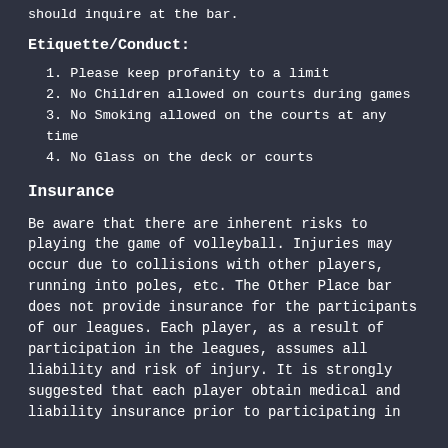should inquire at the bar.
Etiquette/Conduct:
1. Please keep profanity to a limit
2. No Children allowed on courts during games
3. No Smoking allowed on the courts at any time
4. No Glass on the deck or courts
Insurance
Be aware that there are inherent risks to playing the game of volleyball. Injuries may occur due to collisions with other players, running into poles, etc. The Other Place bar does not provide insurance for the participants of our leagues. Each player, as a result of participation in the leagues, assumes all liability and risk of injury. It is strongly suggested that each player obtain medical and liability insurance prior to participating in